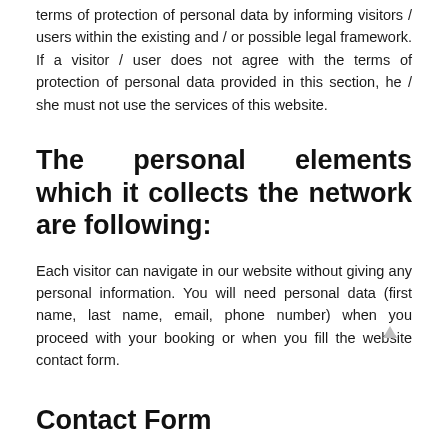terms of protection of personal data by informing visitors / users within the existing and / or possible legal framework. If a visitor / user does not agree with the terms of protection of personal data provided in this section, he / she must not use the services of this website.
The personal elements which it collects the network are following:
Each visitor can navigate in our website without giving any personal information. You will need personal data (first name, last name, email, phone number) when you proceed with your booking or when you fill the website contact form.
Contact Form